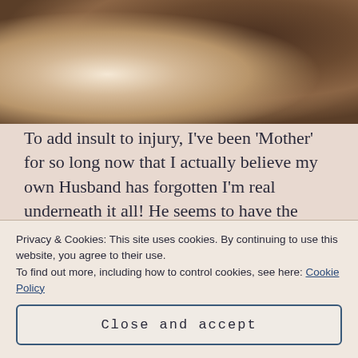[Figure (photo): Photo of a baby and a person with dark hair, baby wearing lace/floral outfit, person holding a dark round object near face]
To add insult to injury, I've been 'Mother' for so long now that I actually believe my own Husband has forgotten I'm real underneath it all! He seems to have the opinion that I stroll around on my days off doing things I WANT! That's right pet, my idea of fun at 30 definitely entails crawling through miniature tunnels, playing on swings, jumping in puddles and rolling down hills. Yep, in my time off, I'd apparently
Privacy & Cookies: This site uses cookies. By continuing to use this website, you agree to their use.
To find out more, including how to control cookies, see here: Cookie Policy
Close and accept